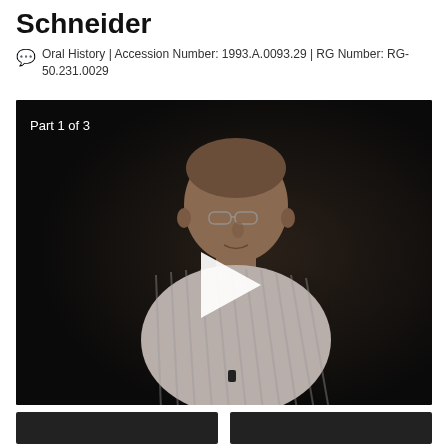Schneider
Oral History | Accession Number: 1993.A.0093.29 | RG Number: RG-50.231.0029
[Figure (screenshot): Video thumbnail showing an elderly man in a striped shirt against a black background, with 'Part 1 of 3' text overlay and a white play button triangle in the center.]